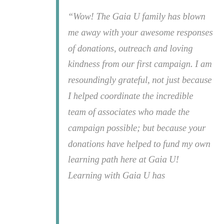“Wow! The Gaia U family has blown me away with your awesome responses of donations, outreach and loving kindness from our first campaign. I am resoundingly grateful, not just because I helped coordinate the incredible team of associates who made the campaign possible; but because your donations have helped to fund my own learning path here at Gaia U! Learning with Gaia U has